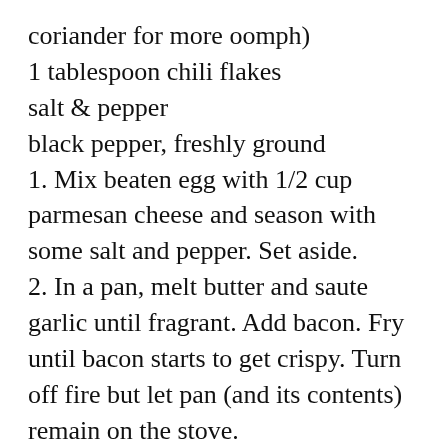coriander for more oomph)
1 tablespoon chili flakes
salt & pepper
black pepper, freshly ground
1. Mix beaten egg with 1/2 cup parmesan cheese and season with some salt and pepper. Set aside.
2. In a pan, melt butter and saute garlic until fragrant. Add bacon. Fry until bacon starts to get crispy. Turn off fire but let pan (and its contents) remain on the stove.
3. Remove pasta from boiling water. Place into a bowl. Working quickly, combine with beaten egg mixture (see Step 1). Mix well.
4. Pour pasta and egg mix into warm pan (from Step 2). Mix well to combine. The heat from the boiling water and the pan will